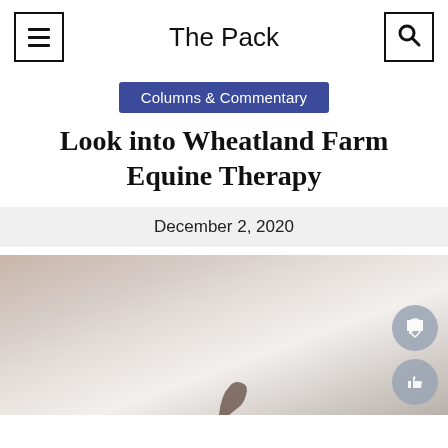The Pack
Columns & Commentary
Look into Wheatland Farm Equine Therapy
December 2, 2020
[Figure (photo): Outdoor scene with a muted sky and partial silhouette of a horse at the bottom, warm and cool tones blended together]